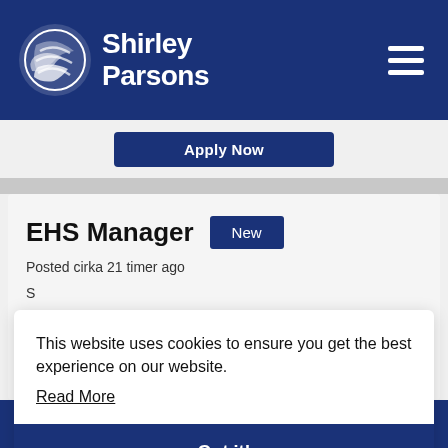Shirley Parsons
Apply Now
EHS Manager
New
Posted cirka 21 timer ago
This website uses cookies to ensure you get the best experience on our website.
Read More
Got it!